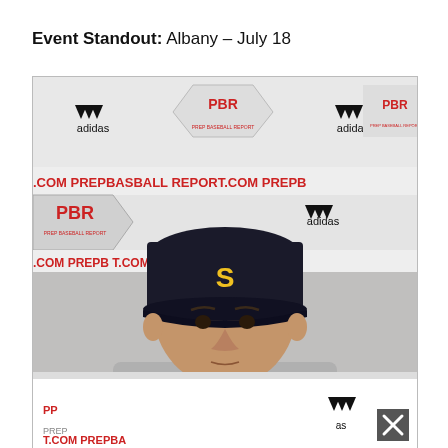Event Standout: Albany - July 18
[Figure (photo): Young baseball player wearing a dark navy cap with gold 'S' letter, standing in front of a Prep Baseball Report (PBR) and Adidas branded step-and-repeat banner backdrop. The player is wearing a grey t-shirt and looking directly at the camera.]